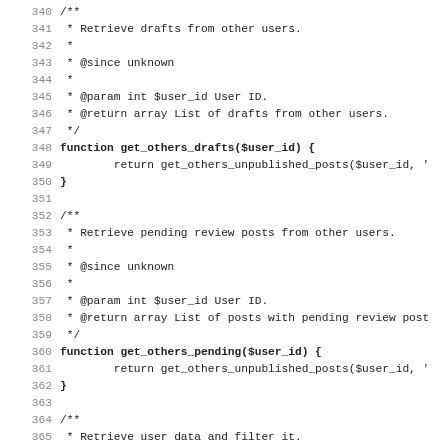Source code listing lines 340-371, PHP functions get_others_drafts, get_others_pending, and beginning of get_userdata with PHPDoc comments.